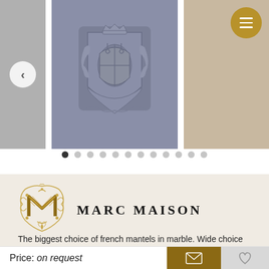[Figure (screenshot): Product image carousel showing a decorative coat of arms relief plaque in gray/blue tones, with navigation arrows and a menu button]
[Figure (logo): Marc Maison logo with ornate M monogram and brand name in serif capitals]
The biggest choice of french mantels in marble. Wide choice of architectural elements. We organize the delivery worldwide.
Price: on request